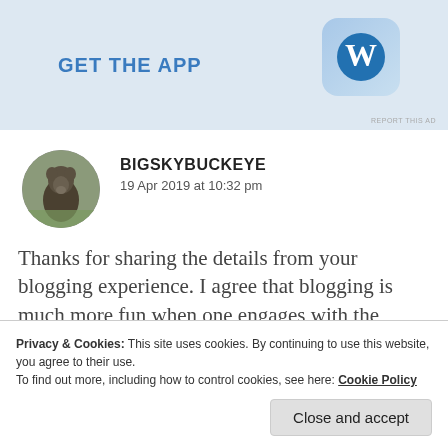[Figure (screenshot): WordPress 'GET THE APP' advertisement banner with WordPress logo icon on blue/grey background]
BIGSKYBUCKEYE
19 Apr 2019 at 10:32 pm
Thanks for sharing the details from your blogging experience. I agree that blogging is much more fun when one engages with the readers. Blogging should be much more than a set of statistics.
Privacy & Cookies: This site uses cookies. By continuing to use this website, you agree to their use.
To find out more, including how to control cookies, see here: Cookie Policy
Close and accept